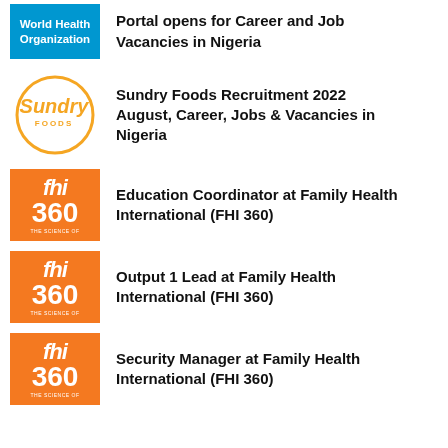Portal opens for Career and Job Vacancies in Nigeria
Sundry Foods Recruitment 2022 August, Career, Jobs & Vacancies in Nigeria
Education Coordinator at Family Health International (FHI 360)
Output 1 Lead at Family Health International (FHI 360)
Security Manager at Family Health International (FHI 360)